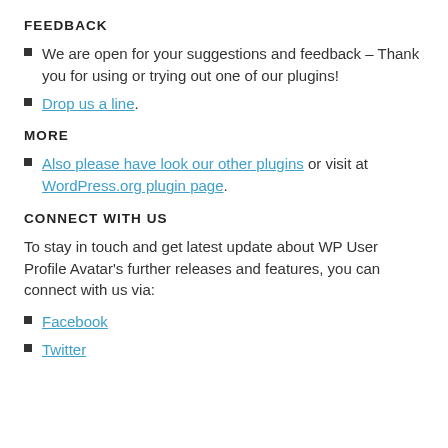FEEDBACK
We are open for your suggestions and feedback – Thank you for using or trying out one of our plugins!
Drop us a line.
MORE
Also please have look our other plugins or visit at WordPress.org plugin page.
CONNECT WITH US
To stay in touch and get latest update about WP User Profile Avatar's further releases and features, you can connect with us via:
Facebook
Twitter